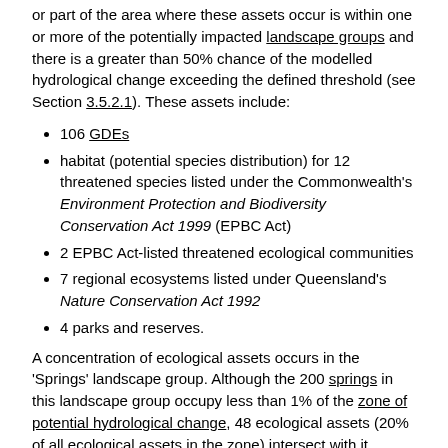or part of the area where these assets occur is within one or more of the potentially impacted landscape groups and there is a greater than 50% chance of the modelled hydrological change exceeding the defined threshold (see Section 3.5.2.1). These assets include:
106 GDEs
habitat (potential species distribution) for 12 threatened species listed under the Commonwealth's Environment Protection and Biodiversity Conservation Act 1999 (EPBC Act)
2 EPBC Act-listed threatened ecological communities
7 regional ecosystems listed under Queensland's Nature Conservation Act 1992
4 parks and reserves.
A concentration of ecological assets occurs in the 'Springs' landscape group. Although the 200 springs in this landscape group occupy less than 1% of the zone of potential hydrological change, 48 ecological assets (20% of all ecological assets in the zone) intersect with it, including 16 that are confined entirely to the zone. Doongmabulla Springs complex is the location where most of these assets occur, and they include the springs themselves, the